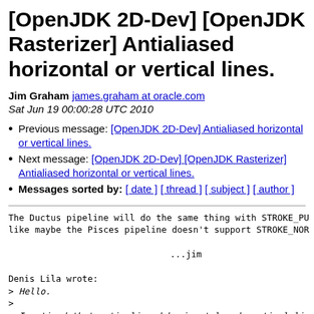[OpenJDK 2D-Dev] [OpenJDK Rasterizer] Antialiased horizontal or vertical lines.
Jim Graham james.graham at oracle.com
Sat Jun 19 00:00:28 UTC 2010
Previous message: [OpenJDK 2D-Dev] Antialiased horizontal or vertical lines.
Next message: [OpenJDK 2D-Dev] [OpenJDK Rasterizer] Antialiased horizontal or vertical lines.
Messages sorted by: [ date ] [ thread ] [ subject ] [ author ]
The Ductus pipeline will do the same thing with STROKE_PU
like maybe the Pisces pipeline doesn't support STROKE_NOR

                        ...jim

Denis Lila wrote:
> Hello.
>
> I noticed that anti aliased horizontal and vertical li